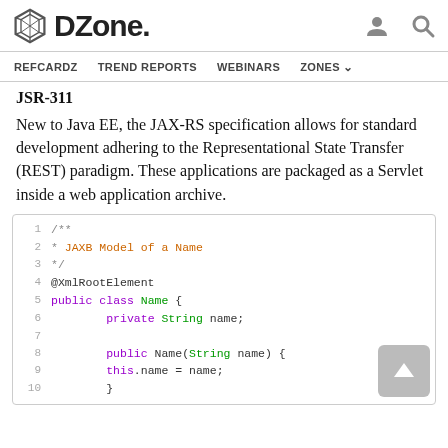DZone. [logo with user and search icons]
REFCARDZ  TREND REPORTS  WEBINARS  ZONES
JSR-311
New to Java EE, the JAX-RS specification allows for standard development adhering to the Representational State Transfer (REST) paradigm. These applications are packaged as a Servlet inside a web application archive.
/**
* JAXB Model of a Name
*/
@XmlRootElement
public class Name {
        private String name;

        public Name(String name) {
        this.name = name;
        }